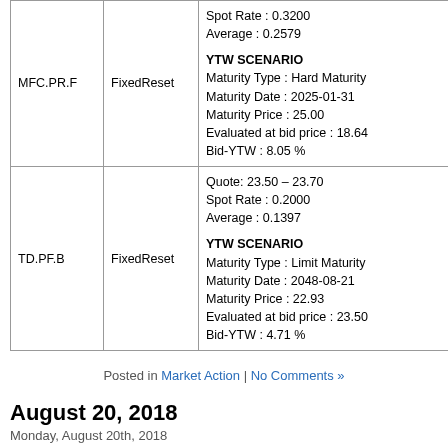| Ticker | Type | Details |
| --- | --- | --- |
| MFC.PR.F | FixedReset | Spot Rate : 0.3200
Average : 0.2579

YTW SCENARIO
Maturity Type : Hard Maturity
Maturity Date : 2025-01-31
Maturity Price : 25.00
Evaluated at bid price : 18.64
Bid-YTW : 8.05 % |
| TD.PF.B | FixedReset | Quote: 23.50 – 23.70
Spot Rate : 0.2000
Average : 0.1397

YTW SCENARIO
Maturity Type : Limit Maturity
Maturity Date : 2048-08-21
Maturity Price : 22.93
Evaluated at bid price : 23.50
Bid-YTW : 4.71 % |
Posted in Market Action | No Comments »
August 20, 2018
Monday, August 20th, 2018